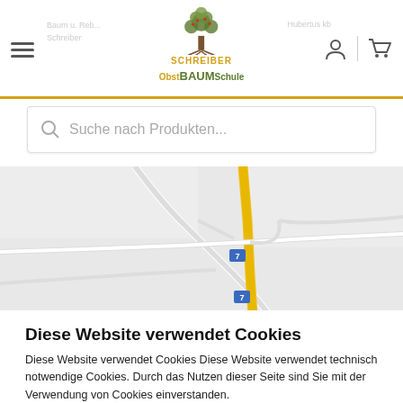[Figure (screenshot): Website header with hamburger menu, Schreiber ObstBAUMSchule logo with tree illustration, navigation text, user icon, and cart icon]
[Figure (screenshot): Search bar with magnifying glass icon and placeholder text 'Suche nach Produkten...']
[Figure (map): Map showing Wetzeldorf area with roads, route 7 markers, and Prellergasse street label]
Diese Website verwendet Cookies
Diese Website verwendet Cookies Diese Website verwendet technisch notwendige Cookies. Durch das Nutzen dieser Seite sind Sie mit der Verwendung von Cookies einverstanden.
Cookies akzeptieren